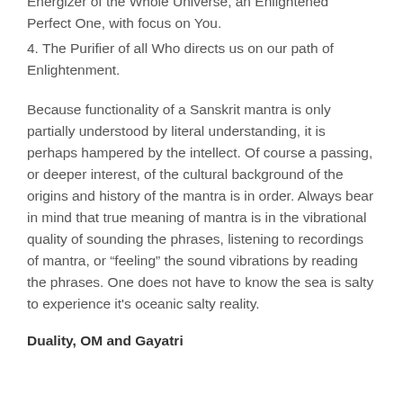Energizer of the Whole Universe, an Enlightened Perfect One, with focus on You.
4. The Purifier of all Who directs us on our path of Enlightenment.
Because functionality of a Sanskrit mantra is only partially understood by literal understanding, it is perhaps hampered by the intellect. Of course a passing, or deeper interest, of the cultural background of the origins and history of the mantra is in order. Always bear in mind that true meaning of mantra is in the vibrational quality of sounding the phrases, listening to recordings of mantra, or “feeling” the sound vibrations by reading the phrases. One does not have to know the sea is salty to experience it's oceanic salty reality.
Duality, OM and Gayatri